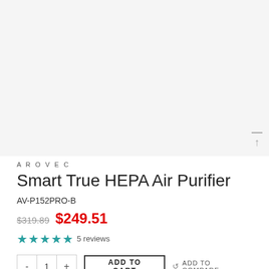[Figure (photo): Product image area — light gray placeholder background for the Smart True HEPA Air Purifier]
AROVEC
Smart True HEPA Air Purifier
AV-P152PRO-B
$319.89  $249.51
★★★★★ 5 reviews
- 1 +  ADD TO CART  ↺ ADD TO COMPARE